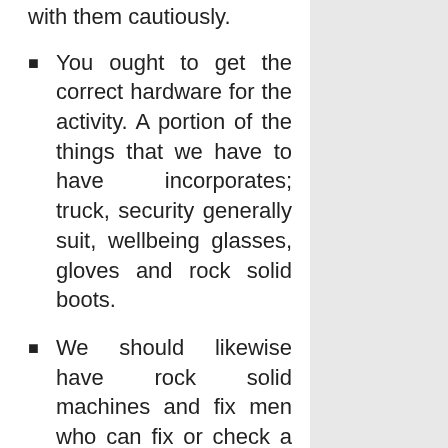with them cautiously.
You ought to get the correct hardware for the activity. A portion of the things that we have to have incorporates; truck, security generally suit, wellbeing glasses, gloves and rock solid boots.
We should likewise have rock solid machines and fix men who can fix or check a portion of these types of gear for a while. It incorporates flatbed trucks, scoops, trash canisters, rakes and wellbeing gear.
We should have a respectable website architecture organization that will be